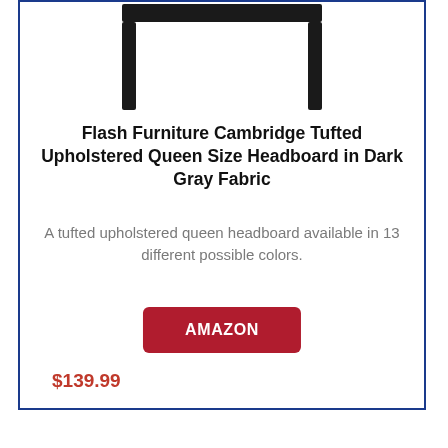[Figure (photo): Partial view of a dark gray/black metal headboard frame against white background, showing the top bar and two vertical legs]
Flash Furniture Cambridge Tufted Upholstered Queen Size Headboard in Dark Gray Fabric
A tufted upholstered queen headboard available in 13 different possible colors.
AMAZON
$139.99